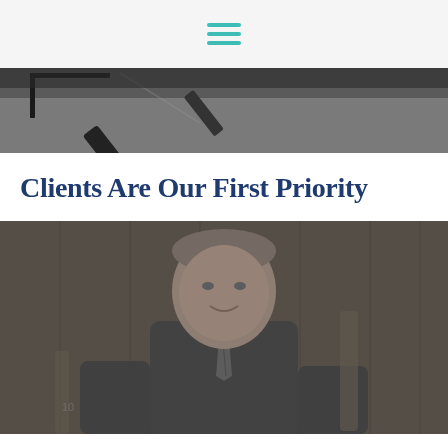Navigation menu icon
[Figure (photo): Black and white close-up of a pen on a document, partial view from above]
Clients Are Our First Priority
[Figure (photo): Black and white portrait of a man in a suit and tie, smiling slightly, seated in what appears to be a courtroom or formal office with wood paneling and chairs in the background]